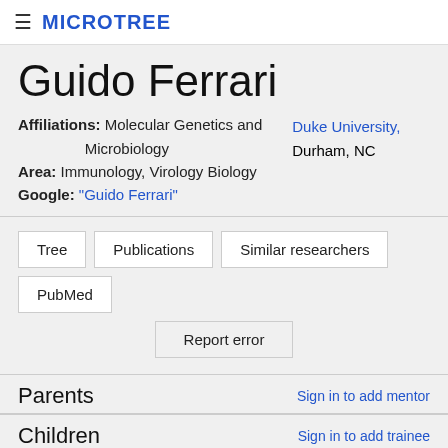≡ MICROTREE
Guido Ferrari
Affiliations: Molecular Genetics and Microbiology
Area: Immunology, Virology Biology
Google: "Guido Ferrari"
Duke University, Durham, NC
Tree
Publications
Similar researchers
PubMed
Report error
Parents
Sign in to add mentor
Children
Sign in to add trainee
Marc A. Frahm grad student 2012 Duke